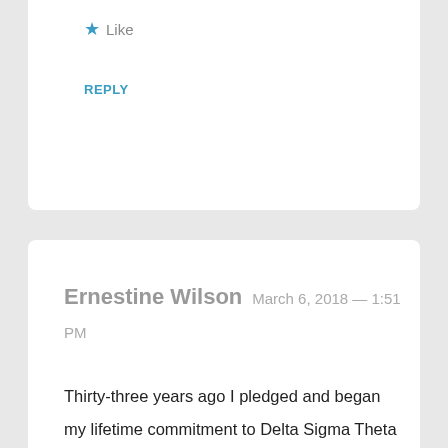Like
REPLY
Ernestine Wilson  March 6, 2018 — 1:51 PM
Thirty-three years ago I pledged and began my lifetime commitment to Delta Sigma Theta Sorority. Never have I read a more concise analogy of what we as Black women who are privileged to belong to BGLOs should be. I will share this and keep it close to my heart. I